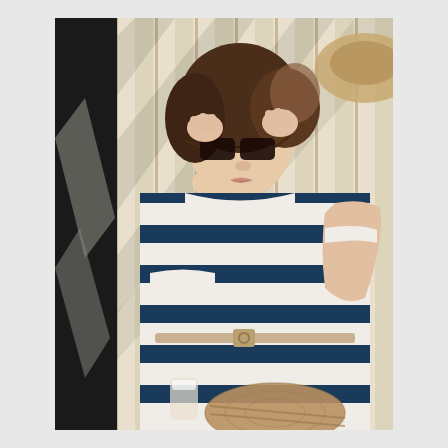[Figure (photo): A young woman lying on a striped lounge chair or deck surface, wearing cat-eye sunglasses and a navy blue and white horizontal striped dress with a thin belt at the waist. She has brunette hair. A straw bag and a glass are visible beside her. The setting appears to be a sunny outdoor area with striped shadows.]